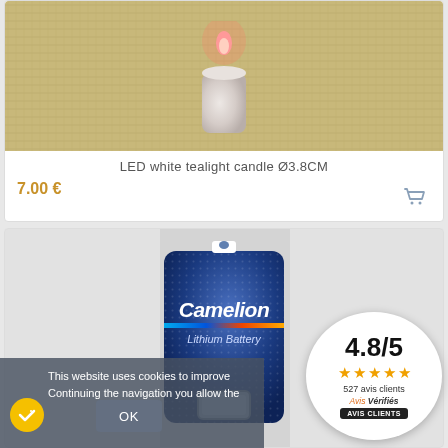[Figure (photo): LED white tealight candle product photo on beige fabric background]
LED white tealight candle Ø3.8CM
7.00 €
[Figure (photo): Camelion Lithium Battery product package photo]
This website uses cookies to improve
Continuing the navigation you allow the
OK
4.8/5
527 avis clients
Avis Vérifiés
AVIS CLIENTS